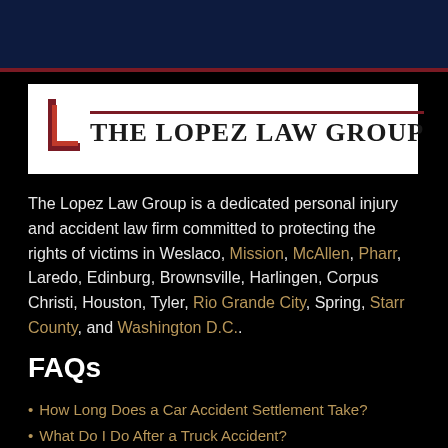[Figure (logo): The Lopez Law Group logo with a stylized 'L' icon and firm name in serif font on white background with red accent line]
The Lopez Law Group is a dedicated personal injury and accident law firm committed to protecting the rights of victims in Weslaco, Mission, McAllen, Pharr, Laredo, Edinburg, Brownsville, Harlingen, Corpus Christi, Houston, Tyler, Rio Grande City, Spring, Starr County, and Washington D.C..
FAQs
How Long Does a Car Accident Settlement Take?
What Do I Do After a Truck Accident?